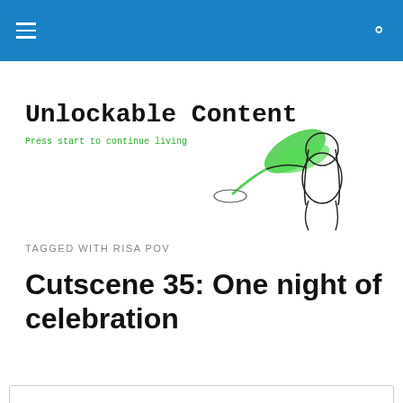Navigation bar with hamburger menu and search icon
Unlockable Content
Press start to continue living
[Figure (illustration): Anime-style character with green wings holding a pizza pan with green beam shooting from it]
TAGGED WITH RISA POV
Cutscene 35: One night of celebration
Privacy & Cookies: This site uses cookies. By continuing to use this website, you agree to their use.
To find out more, including how to control cookies, see here: Cookie Policy
Close and accept